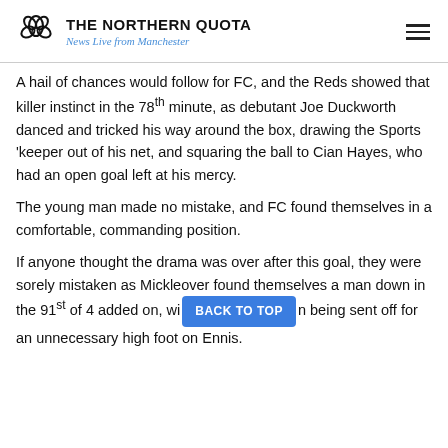THE NORTHERN QUOTA — News Live from Manchester
A hail of chances would follow for FC, and the Reds showed that killer instinct in the 78th minute, as debutant Joe Duckworth danced and tricked his way around the box, drawing the Sports 'keeper out of his net, and squaring the ball to Cian Hayes, who had an open goal left at his mercy.
The young man made no mistake, and FC found themselves in a comfortable, commanding position.
If anyone thought the drama was over after this goal, they were sorely mistaken as Mickleover found themselves a man down in the 91st of 4 added on, with [BACK TO TOP] n being sent off for an unnecessary high foot on Ennis.